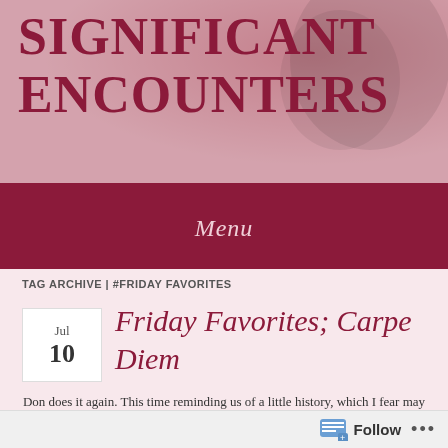SIGNIFICANT ENCOUNTERS
Menu
TAG ARCHIVE | #FRIDAY FAVORITES
Friday Favorites; Carpe Diem
Don does it again. This time reminding us of a little history, which I fear may not being fully taught these days, and perhaps forgotten by
Follow ...